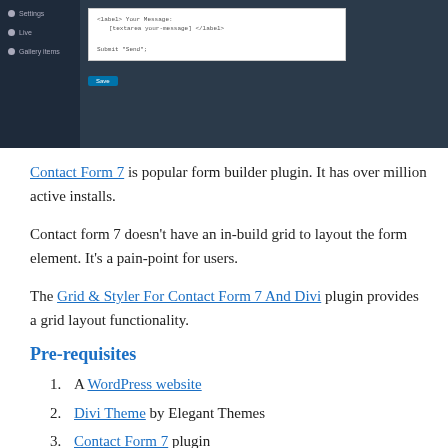[Figure (screenshot): Screenshot of a WordPress/Contact Form 7 admin interface showing a dark sidebar with navigation items (Settings, Live, Gallery items) and a main content area with a white code/form editor box containing form markup and a blue Save button]
Contact Form 7 is popular form builder plugin. It has over million active installs.
Contact form 7 doesn't have an in-build grid to layout the form element. It's a pain-point for users.
The Grid & Styler For Contact Form 7 And Divi plugin provides a grid layout functionality.
Pre-requisites
A WordPress website
Divi Theme by Elegant Themes
Contact Form 7 plugin
Grid & Styler For Contact Form 7 And Divi plugin